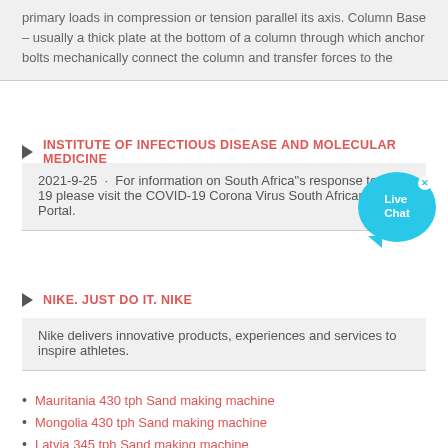primary loads in compression or tension parallel its axis. Column Base – usually a thick plate at the bottom of a column through which anchor bolts mechanically connect the column and transfer forces to the
INSTITUTE OF INFECTIOUS DISEASE AND MOLECULAR MEDICINE
2021-9-25 · For information on South Africa"s response to COVID-19 please visit the COVID-19 Corona Virus South African Resource Portal.
NIKE. JUST DO IT. NIKE
Nike delivers innovative products, experiences and services to inspire athletes.
Mauritania 430 tph Sand making machine
Mongolia 430 tph Sand making machine
Latvia 345 tph Sand making machine